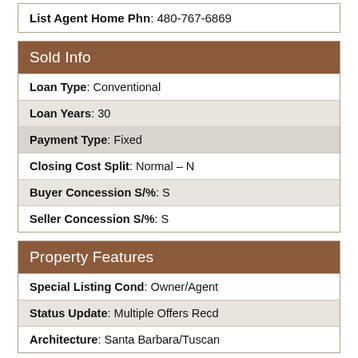List Agent Home Phn: 480-767-6869
Sold Info
| Loan Type: Conventional |
| Loan Years: 30 |
| Payment Type: Fixed |
| Closing Cost Split: Normal – N |
| Buyer Concession S/%: S |
| Seller Concession S/%: S |
Property Features
| Special Listing Cond: Owner/Agent |
| Status Update: Multiple Offers Recd |
| Architecture: Santa Barbara/Tuscan |